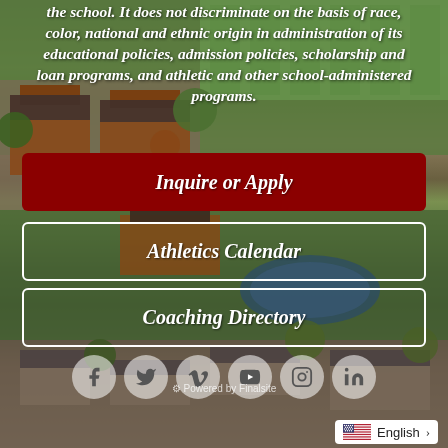the school. It does not discriminate on the basis of race, color, national and ethnic origin in administration of its educational policies, admission policies, scholarship and loan programs, and athletic and other school-administered programs.
[Figure (photo): Aerial view of a school campus with brick buildings, green lawns, athletic fields, and a pond, taken in autumn.]
Inquire or Apply
Athletics Calendar
Coaching Directory
Powered by Finalsite
English